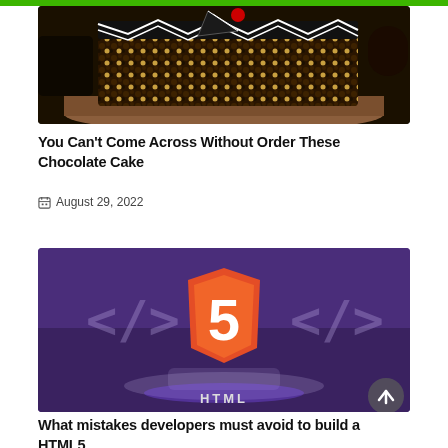[Figure (photo): Chocolate cake decorated with chocolate chips and white zigzag icing, topped with a red cherry, on a wooden board]
You Can't Come Across Without Order These Chocolate Cake
August 29, 2022
[Figure (illustration): HTML5 logo (orange shield with white '5') on a glowing platform against a purple background with code bracket symbols]
What mistakes developers must avoid to build a HTML5